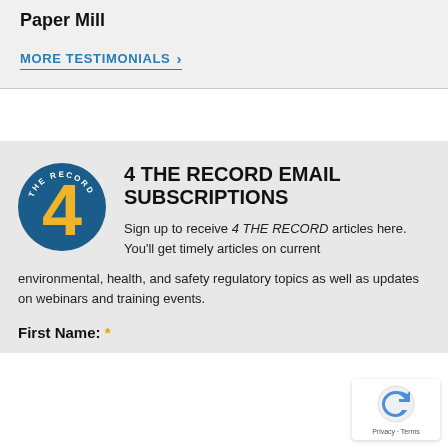Paper Mill
MORE TESTIMONIALS >
[Figure (logo): 4 THE RECORD circular logo with blue background, gold/yellow number 4, and white text reading 'THE RECORD' along the right arc]
4 THE RECORD EMAIL SUBSCRIPTIONS
Sign up to receive 4 THE RECORD articles here. You'll get timely articles on current environmental, health, and safety regulatory topics as well as updates on webinars and training events.
First Name: *